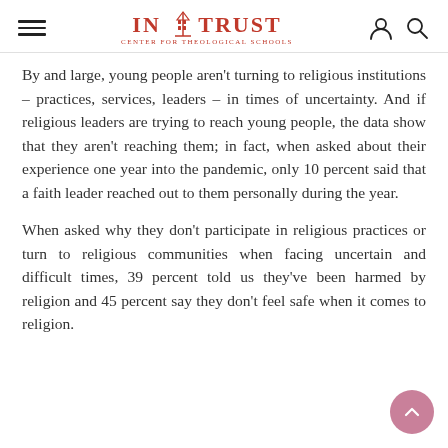IN TRUST CENTER FOR THEOLOGICAL SCHOOLS
By and large, young people aren't turning to religious institutions – practices, services, leaders – in times of uncertainty. And if religious leaders are trying to reach young people, the data show that they aren't reaching them; in fact, when asked about their experience one year into the pandemic, only 10 percent said that a faith leader reached out to them personally during the year.
When asked why they don't participate in religious practices or turn to religious communities when facing uncertain and difficult times, 39 percent told us they've been harmed by religion and 45 percent say they don't feel safe when it comes to religion.